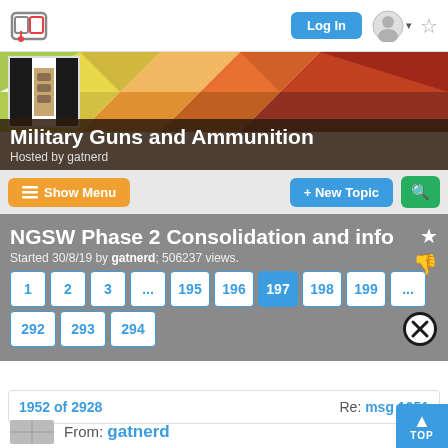Log In [navigation bar with logo, login button, avatar, star icon]
[Figure (screenshot): Forum community header banner with geometric colorful polygon background and thumbnail image of ammunition/guns on the left]
Military Guns and Ammunition
Hosted by gatnerd
≡ Show Menu   + New Topic  🔍
NGSW Phase 2 Consolidation and info
Started 30/8/19 by gatnerd; 506237 views.
Pagination: 1 2 3 ... 195 196 197 198 199 ... 292 293 294
1952 of 2928   Re: msg 1951
From: gatnerd